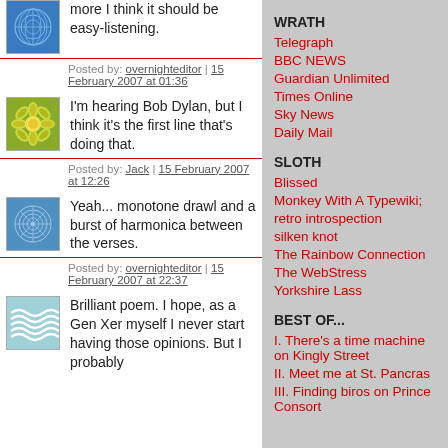more I think it should be easy-listening.
Posted by: overnighteditor | 15 February 2007 at 01:36
I'm hearing Bob Dylan, but I think it's the first line that's doing that.
Posted by: Jack | 15 February 2007 at 12:26
Yeah... monotone drawl and a burst of harmonica between the verses.
Posted by: overnighteditor | 15 February 2007 at 22:37
Brilliant poem. I hope, as a Gen Xer myself I never start having those opinions. But I probably
WRATH
Telegraph
BBC NEWS
Guardian Unlimited
Times Online
Sky News
Daily Mail
SLOTH
Blissed
Monkey With A Typewiki;
retro introspection
silken knot
The Rainbow Connection
The WebStress
Yorkshire Lass
BEST OF...
I. There's a time machine on Kingly Street
II. Meet me at St. Pancras
III. Finding biros on Prince Consort